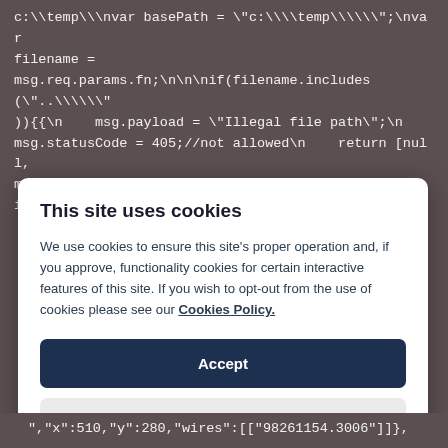[Figure (screenshot): Code snippet on dark background showing Node.js/JavaScript code with path traversal checks. Code reads: c:\\temp\
var basePath = "c:\\temp\\"; 
var filename = msg.req.params.fn;

if(filename.includes("..\\")){ 
    msg.payload = "Illegal file path";
    msg.statusCode = 405;//not allowed
    return [null, msg];//fire output 2
} else if(filename.includes("../")){ 
    msg.payload =]
This site uses cookies
We use cookies to ensure this site’s proper operation and, if you approve, functionality cookies for certain interactive features of this site. If you wish to opt-out from the use of cookies please see our Cookies Policy.
Accept
Settings...
[Figure (screenshot): Bottom code fragment on dark background: ,"x":510,"y":280,"wires":[["98261154.3006"]]},]